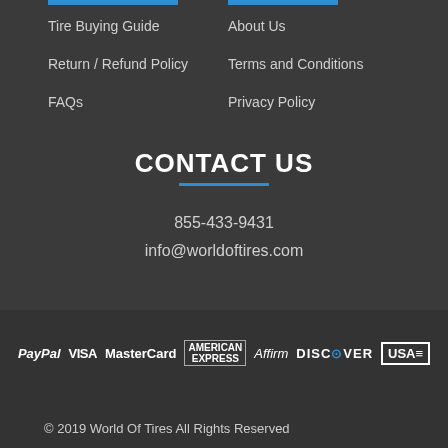Tire Buying Guide
About Us
Return / Refund Policy
Terms and Conditions
FAQs
Privacy Policy
CONTACT US
855-433-9431
info@worldoftires.com
[Figure (logo): Payment method logos: PayPal, VISA, MasterCard, American Express, Affirm, Discover, USA Founded & Operated]
© 2019 World Of Tires All Rights Reserved